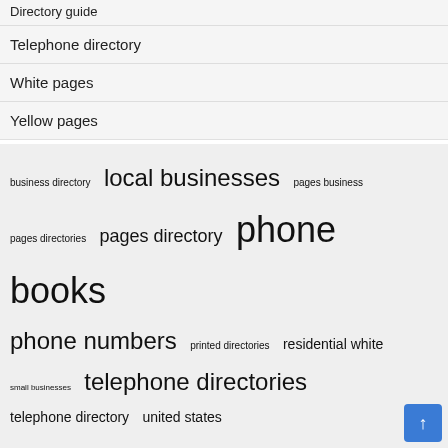Directory guide
Telephone directory
White pages
Yellow pages
business directory  local businesses  pages business  pages directories  pages directory  phone books  phone numbers  printed directories  residential white  small businesses  telephone directories  telephone directory  united states  white pages  yellow pages